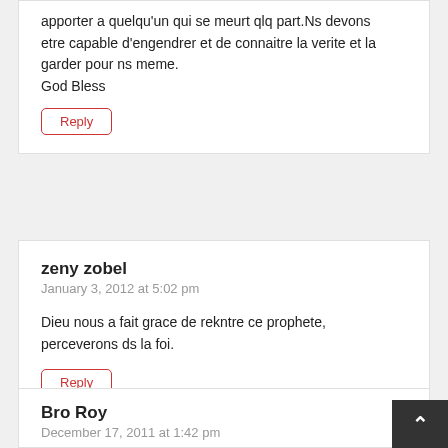apporter a quelqu'un qui se meurt qlq part.Ns devons etre capable d'engendrer et de connaitre la verite et la garder pour ns meme.
God Bless
Reply
zeny zobel
January 3, 2012 at 5:02 pm
Dieu nous a fait grace de rekntre ce prophete, perceverons ds la foi.
Reply
Bro Roy
December 17, 2011 at 1:42 pm